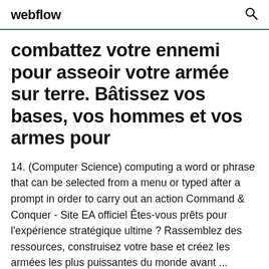webflow
combattez votre ennemi pour asseoir votre armée sur terre. Bâtissez vos bases, vos hommes et vos armes pour
14. (Computer Science) computing a word or phrase that can be selected from a menu or typed after a prompt in order to carry out an action Command & Conquer - Site EA officiel Êtes-vous prêts pour l'expérience stratégique ultime ? Rassemblez des ressources, construisez votre base et créez les armées les plus puissantes du monde avant ... Minecraft Command Science DB Add new command Minecraft Command Science DB Publi...